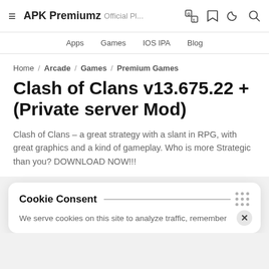APK Premiumz Official Pl...
Apps / Games / IOS IPA / Blog
Home / Arcade / Games / Premium Games
Clash of Clans v13.675.22 + (Private server Mod)
Clash of Clans – a great strategy with a slant in RPG, with great graphics and a kind of gameplay. Who is more Strategic than you? DOWNLOAD NOW!!!
Cookie Consent
We serve cookies on this site to analyze traffic, remember